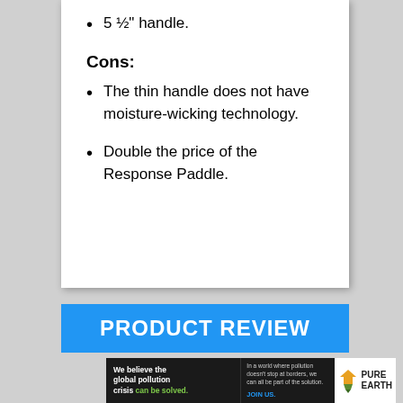5 ½" handle.
Cons:
The thin handle does not have moisture-wicking technology.
Double the price of the Response Paddle.
[Figure (infographic): Blue banner with white bold text reading PRODUCT REVIEW]
[Figure (infographic): Pure Earth advertisement banner with text about global pollution crisis]